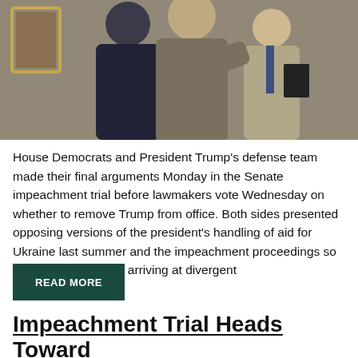[Figure (photo): Photograph of people in suits, appears to show politicians or officials in a formal setting]
House Democrats and President Trump's defense team made their final arguments Monday in the Senate impeachment trial before lawmakers vote Wednesday on whether to remove Trump from office. Both sides presented opposing versions of the president's handling of aid for Ukraine last summer and the impeachment proceedings so far, before ultimately arriving at divergent
READ MORE
Impeachment Trial Heads Toward Finishing This Week After Senate